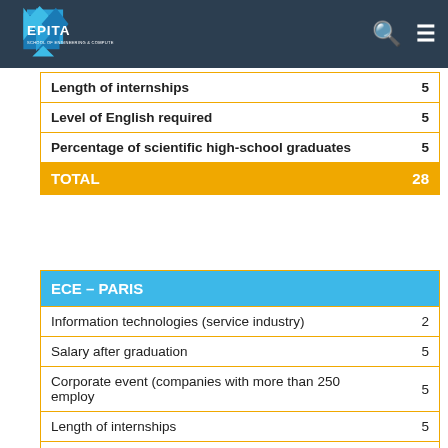EPITA
| Criterion | Score |
| --- | --- |
| Length of internships | 5 |
| Level of English required | 5 |
| Percentage of scientific high-school graduates | 5 |
| TOTAL | 28 |
| ECE – PARIS |  |
| --- | --- |
| Information technologies (service industry) | 2 |
| Salary after graduation | 5 |
| Corporate event (companies with more than 250 employees) | 5 |
| Length of internships | 5 |
| Level of English required | 5 |